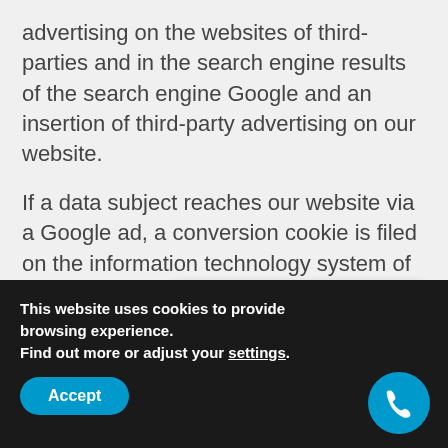advertising on the websites of third-parties and in the search engine results of the search engine Google and an insertion of third-party advertising on our website.
If a data subject reaches our website via a Google ad, a conversion cookie is filed on the information technology system of the data subject through Google. The definition of cookies is explained above. A conversion cookie loses its validity after 30 days and is not used to identify the data subject. If the cookie has not expired, the conversion cookie is used to check whether certain
This website uses cookies to provide browsing experience.
Find out more or adjust your settings.
Accept
Have a question?